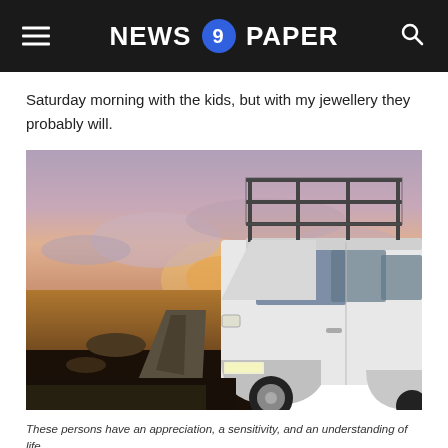NEWS 9 PAPER
Saturday morning with the kids, but with my jewellery they probably will.
[Figure (photo): A white Land Rover Defender SUV with a roof rack parked on a rough dirt track in a moorland landscape at sunset, with dramatic pink and orange cloudy sky in the background.]
These persons have an appreciation, a sensitivity, and an understanding of life.